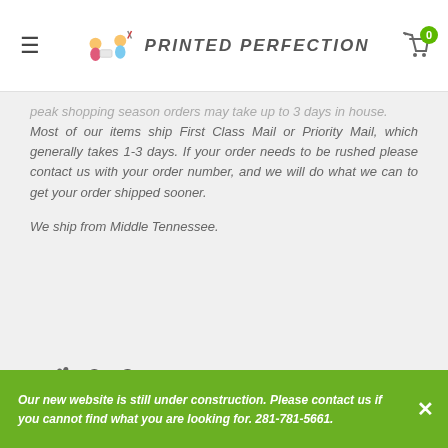PRINTED PERFECTION
peak shopping season orders may take up to 3 days in house. Most of our items ship First Class Mail or Priority Mail, which generally takes 1-3 days. If your order needs to be rushed please contact us with your order number, and we will do what we can to get your order shipped sooner.

We ship from Middle Tennessee.
+ 👍 Our Guarantee
How to reach us
If you have any questions or need assistance ordering this item please feel free to reach out to us by phone, or use the form below
Our new website is still under construction. Please contact us if you cannot find what you are looking for. 281-781-5661.